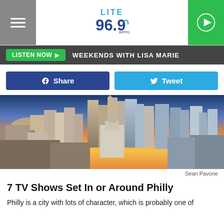LITE 96.9 WFPG
LISTEN NOW ▶   WEEKENDS WITH LISA MARIE
Share   Tweet
[Figure (photo): Aerial city skyline photo of Philadelphia at sunset, showing skyscrapers and Philadelphia City Hall]
Sean Pavone
7 TV Shows Set In or Around Philly
Philly is a city with lots of character, which is probably one of